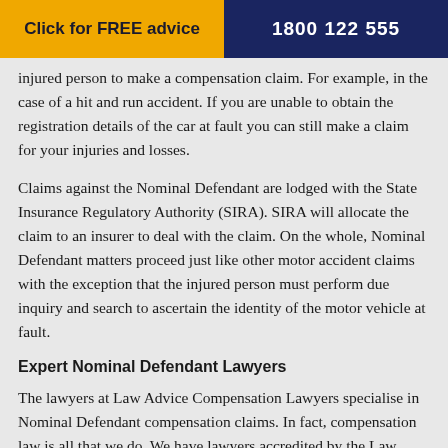Click for FREE advice | 1800 122 555
injured person to make a compensation claim. For example, in the case of a hit and run accident. If you are unable to obtain the registration details of the car at fault you can still make a claim for your injuries and losses.
Claims against the Nominal Defendant are lodged with the State Insurance Regulatory Authority (SIRA). SIRA will allocate the claim to an insurer to deal with the claim. On the whole, Nominal Defendant matters proceed just like other motor accident claims with the exception that the injured person must perform due inquiry and search to ascertain the identity of the motor vehicle at fault.
Expert Nominal Defendant Lawyers
The lawyers at Law Advice Compensation Lawyers specialise in Nominal Defendant compensation claims. In fact, compensation law is all that we do. We have lawyers accredited by the Law Society of NSW as Specialists in